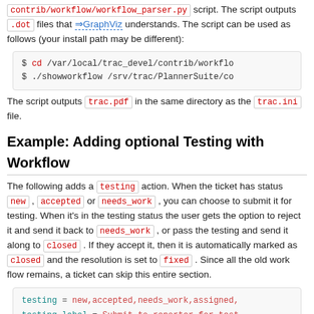contrib/workflow/workflow_parser.py script. The script outputs .dot files that GraphViz understands. The script can be used as follows (your install path may be different):
$ cd /var/local/trac_devel/contrib/workflow
$ ./showworkflow /srv/trac/PlannerSuite/co
The script outputs trac.pdf in the same directory as the trac.ini file.
Example: Adding optional Testing with Workflow
The following adds a testing action. When the ticket has status new , accepted or needs_work , you can choose to submit it for testing. When it's in the testing status the user gets the option to reject it and send it back to needs_work , or pass the testing and send it along to closed . If they accept it, then it is automatically marked as closed and the resolution is set to fixed . Since all the old work flow remains, a ticket can skip this entire section.
testing = new,accepted,needs_work,assigned,
testing.label = Submit to reporter for test
testing.permissions = TICKET_MODIFY

reject = testing -> needs_work
reject.label = Failed testing, return to de

pass = testing -> closed